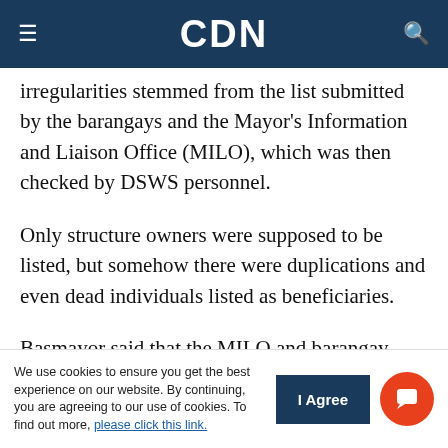CDN
irregularities stemmed from the list submitted by the barangays and the Mayor's Information and Liaison Office (MILO), which was then checked by DSWS personnel.
Only structure owners were supposed to be listed, but somehow there were duplications and even dead individuals listed as beneficiaries.
Basmayor said that the MILO and barangay health workers (BHW) were responsible for validating the identities of the beneficiaries but due to the sheer
We use cookies to ensure you get the best experience on our website. By continuing, you are agreeing to our use of cookies. To find out more, please click this link.